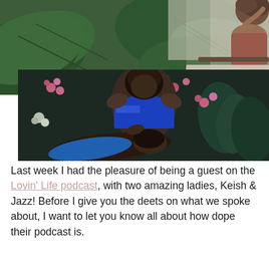[Figure (photo): Composite of two photos: top photo shows a woman with curly hair posing against a background of large tropical green leaves (bird of paradise plant); bottom photo shows two Black women in a dark floral studio setting, one wearing a blue metallic top, posed together with pink and white flowers around them.]
Last week I had the pleasure of being a guest on the Lovin' Life podcast, with two amazing ladies, Keish & Jazz! Before I give you the deets on what we spoke about, I want to let you know all about how dope their podcast is.